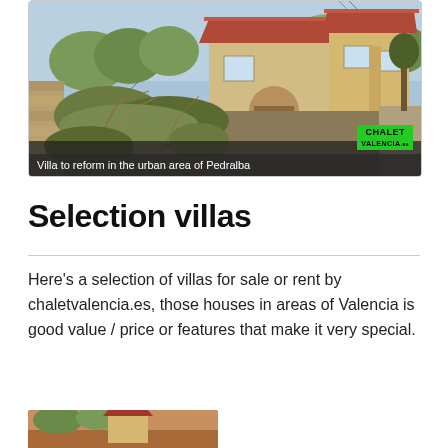[Figure (photo): Exterior photo of a Spanish-style villa with overgrown vegetation in foreground, stone walls, arched entrance, and terracotta roof. CHALET VALENCIA logo badge in bottom-right corner.]
Villa to reform in the urban area of Pedralba
Selection villas
Here's a selection of villas for sale or rent by chaletvalencia.es, those houses in areas of Valencia is good value / price or features that make it very special.
[Figure (photo): Bottom partial photo strip showing another property listing.]